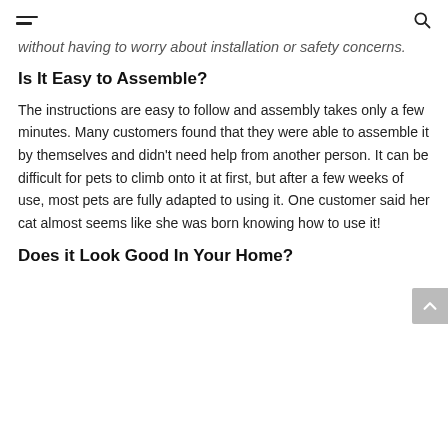[hamburger menu icon] [search icon]
without having to worry about installation or safety concerns.
Is It Easy to Assemble?
The instructions are easy to follow and assembly takes only a few minutes. Many customers found that they were able to assemble it by themselves and didn't need help from another person. It can be difficult for pets to climb onto it at first, but after a few weeks of use, most pets are fully adapted to using it. One customer said her cat almost seems like she was born knowing how to use it!
Does it Look Good In Your Home?